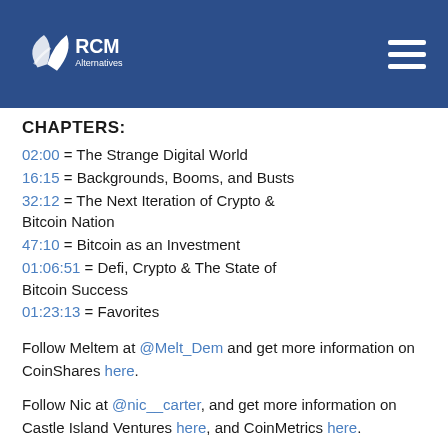[Figure (logo): RCM Alternatives logo in white on dark blue header bar, with hamburger menu icon on the right]
CHAPTERS:
02:00 = The Strange Digital World
16:15 = Backgrounds, Booms, and Busts
32:12 = The Next Iteration of Crypto & Bitcoin Nation
47:10 = Bitcoin as an Investment
01:06:51 = Defi, Crypto & The State of Bitcoin Success
01:23:13 = Favorites
Follow Meltem at @Melt_Dem and get more information on CoinShares here.
Follow Nic at @nic__carter, and get more information on Castle Island Ventures here, and CoinMetrics here.